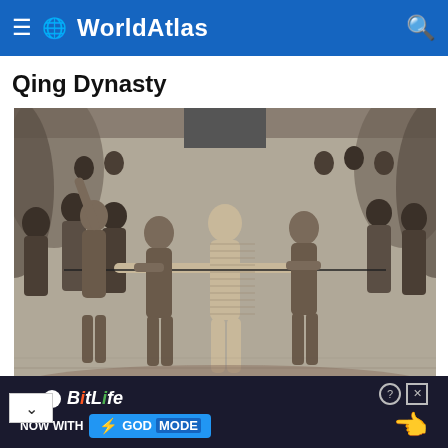WorldAtlas
Qing Dynasty
[Figure (illustration): Historical black and white engraving of a group of figures engaged in an execution scene, showing multiple people surrounding a central figure being restrained with rope.]
Historical Methods Of Execution
[Figure (other): BitLife advertisement banner reading: BitLife NOW WITH GOD MODE, with a pointing hand graphic.]